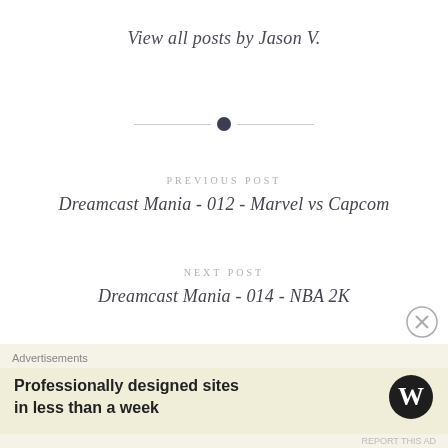View all posts by Jason V.
[Figure (other): Decorative divider with horizontal lines and a central filled circle]
PREVIOUS POST
Dreamcast Mania - 012 - Marvel vs Capcom
NEXT POST
Dreamcast Mania - 014 - NBA 2K
[Figure (other): Close/dismiss button circle with X]
Advertisements
Professionally designed sites in less than a week